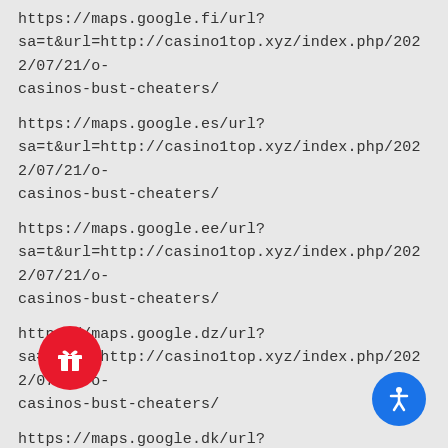https://maps.google.fi/url?sa=t&url=http://casino1top.xyz/index.php/2022/07/21/o-casinos-bust-cheaters/
https://maps.google.es/url?sa=t&url=http://casino1top.xyz/index.php/2022/07/21/o-casinos-bust-cheaters/
https://maps.google.ee/url?sa=t&url=http://casino1top.xyz/index.php/2022/07/21/o-casinos-bust-cheaters/
https://maps.google.dz/url?sa=t&url=http://casino1top.xyz/index.php/2022/07/21/o-casinos-bust-cheaters/
https://maps.google.dk/url?sa=t&url=http://casino1top.xyz/index.php/2022/07/21/o-casinos-bust-cheaters/
https://maps.google.dj/url?sa=t&url=http://casino1top.xyz/index.php/2022/07/21/o-